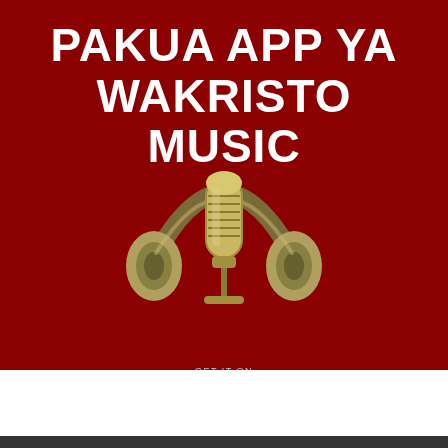[Figure (infographic): Dark red/maroon promotional banner for Wakristo Music app. Shows bold white text 'PAKUA APP YA WAKRISTO MUSIC' at top, a golden microphone and headphones illustration in the center, and a Google Play badge at the bottom with a triangular play icon in green/yellow/red gradient and white text 'GET IT ON Google Play'.]
PAKUA APP YA WAKRISTO MUSIC